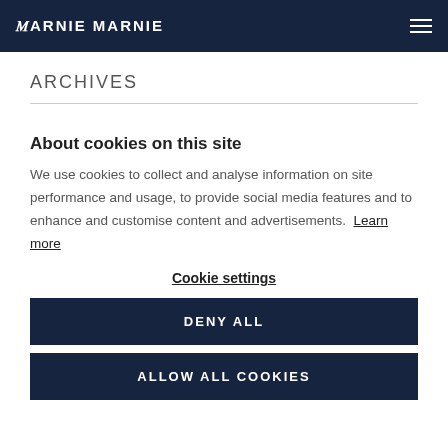MARNIE
ARCHIVES
About cookies on this site
We use cookies to collect and analyse information on site performance and usage, to provide social media features and to enhance and customise content and advertisements. Learn more
Cookie settings
DENY ALL
ALLOW ALL COOKIES